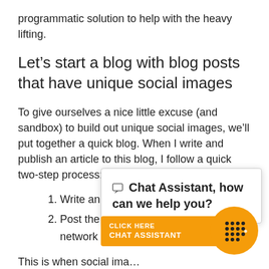programmatic solution to help with the heavy lifting.
Let’s start a blog with blog posts that have unique social images
To give ourselves a nice little excuse (and sandbox) to build out unique social images, we’ll put together a quick blog. When I write and publish an article to this blog, I follow a quick two-step process:
1. Write an…
2. Post the… network accounts
[Figure (screenshot): Chat assistant popup overlay with text '💬 Chat Assistant, how can we help you?' and an orange 'CLICK HERE / CHAT ASSISTANT' button bar with a chat icon circle]
This is when social ima… to give our blog its best shot at being h… But that’s not our only goal. This blog should…